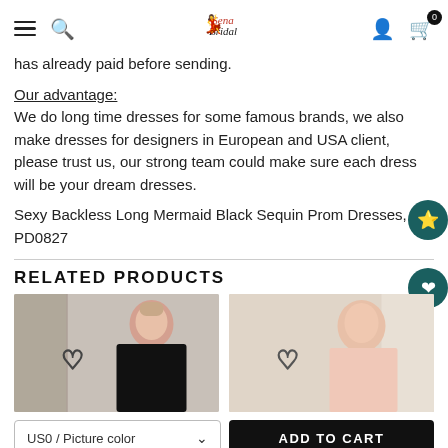SenaBridal [navigation header with hamburger, search, logo, user, cart icons]
has already paid before sending.
Our advantage:
We do long time dresses for some famous brands, we also make dresses for designers in European and USA client, please trust us, our strong team could make sure each dress will be your dream dresses.
Sexy Backless Long Mermaid Black Sequin Prom Dresses, PD0827
RELATED PRODUCTS
[Figure (photo): Product photo of a model wearing a black dress]
[Figure (photo): Product photo of a model wearing a dress]